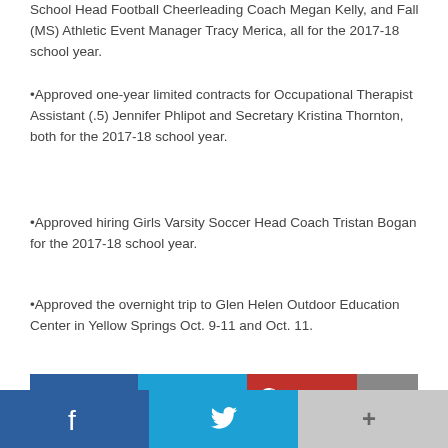School Head Football Cheerleading Coach Megan Kelly, and Fall (MS) Athletic Event Manager Tracy Merica, all for the 2017-18 school year.
•Approved one-year limited contracts for Occupational Therapist Assistant (.5) Jennifer Phlipot and Secretary Kristina Thornton, both for the 2017-18 school year.
•Approved hiring Girls Varsity Soccer Head Coach Tristan Bogan for the 2017-18 school year.
•Approved the overnight trip to Glen Helen Outdoor Education Center in Yellow Springs Oct. 9-11 and Oct. 11.
[Figure (other): Social sharing buttons: Facebook, Twitter, Pinterest, Email]
Casey S. Elliott may be reached at 937-652-1331 ext. 1772 or on Twitter @UDCElliott.
[Figure (other): Bottom social sharing bar with Facebook, Twitter, and more (+) icons]